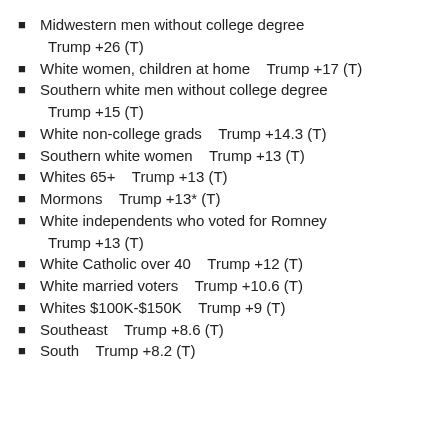Midwestern men without college degree    Trump +26 (T)
White women, children at home    Trump +17 (T)
Southern white men without college degree    Trump +15 (T)
White non-college grads    Trump +14.3 (T)
Southern white women    Trump +13 (T)
Whites 65+    Trump +13 (T)
Mormons    Trump +13* (T)
White independents who voted for Romney    Trump +13 (T)
White Catholic over 40    Trump +12 (T)
White married voters    Trump +10.6 (T)
Whites $100K-$150K    Trump +9 (T)
Southeast    Trump +8.6 (T)
South    Trump +8.2 (T)